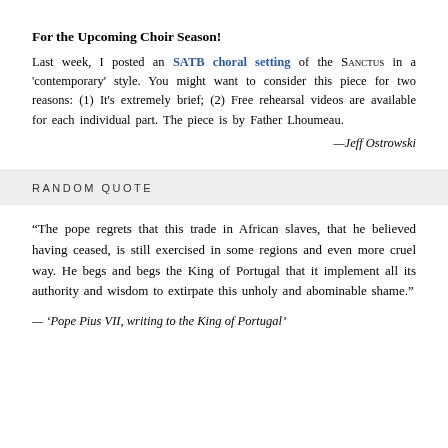For the Upcoming Choir Season!
Last week, I posted an SATB choral setting of the SANCTUS in a 'contemporary' style. You might want to consider this piece for two reasons: (1) It's extremely brief; (2) Free rehearsal videos are available for each individual part. The piece is by Father Lhoumeau.
—Jeff Ostrowski
RANDOM QUOTE
“The pope regrets that this trade in African slaves, that he believed having ceased, is still exercised in some regions and even more cruel way. He begs and begs the King of Portugal that it implement all its authority and wisdom to extirpate this unholy and abominable shame.”
— ‘Pope Pius VII, writing to the King of Portugal’